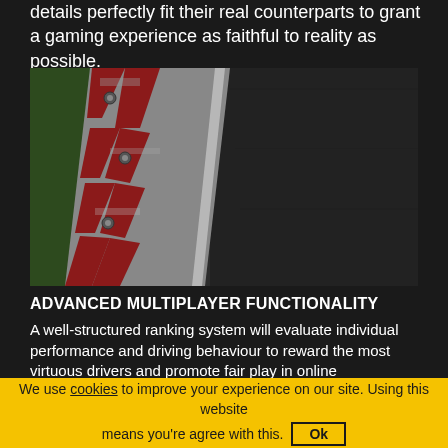details perfectly fit their real counterparts to grant a gaming experience as faithful to reality as possible.
[Figure (photo): Aerial/top-down view of a race track curb detail showing a red and white painted kerb with bolts, grass on the left, and dark tarmac on the right]
ADVANCED MULTIPLAYER FUNCTIONALITY
A well-structured ranking system will evaluate individual performance and driving behaviour to reward the most virtuous drivers and promote fair play in online competitions. The matchmaking function makes sure that you can compete with opponents of similar skill level and easily find online races to join, while the leaderboards will allow you to compare single-lap performance with drivers from all around the world with the same car, circuit and weather conditions.IMMERSIVE
We use cookies to improve your experience on our site. Using this website means you're agree with this. Ok